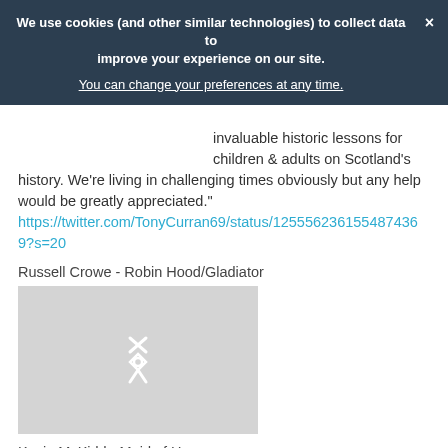We use cookies (and other similar technologies) to collect data to improve your experience on our site. You can change your preferences at any time. ×
invaluable historic lessons for children & adults on Scotland's history. We're living in challenging times obviously but any help would be greatly appreciated."
https://twitter.com/TonyCurran69/status/1255562361554874369?s=20
Russell Crowe - Robin Hood/Gladiator
[Figure (photo): Placeholder image with a white icon on light grey background]
Kevin McKidd - Maid of Honour
[Figure (photo): Two partial thumbnail images side by side with caption text 'Good pals, great']